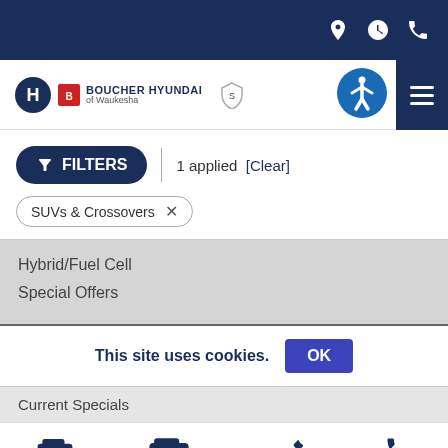Boucher Hyundai of Waukesha - navigation bar with location, hours, phone icons
[Figure (logo): Boucher Hyundai of Waukesha logo with Hyundai H badge and dealership name]
FILTERS | 1 applied [Clear]
SUVs & Crossovers x
Hybrid/Fuel Cell
Special Offers
This site uses cookies. OK
Current Specials
New | Used | Service | Call